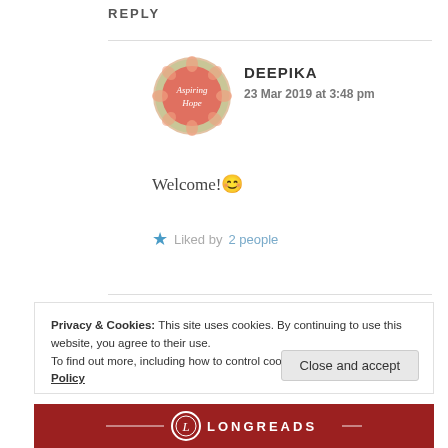REPLY
[Figure (illustration): Circular avatar image with coral/pink background showing text 'Aspiring Hope' with floral border decoration]
DEEPIKA
23 Mar 2019 at 3:48 pm
Welcome! 😊
★ Liked by 2 people
Privacy & Cookies: This site uses cookies. By continuing to use this website, you agree to their use.
To find out more, including how to control cookies, see here: Cookie Policy
Close and accept
[Figure (logo): Longreads logo bar — dark red background with LONGREADS text in white and circular L logo]